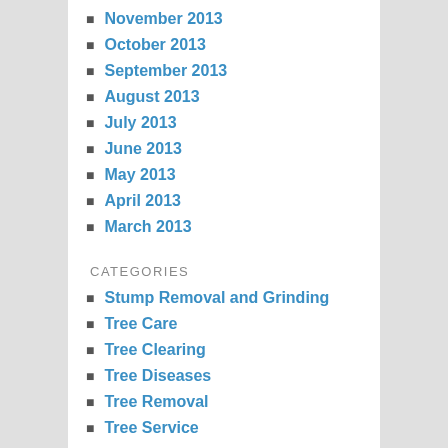November 2013
October 2013
September 2013
August 2013
July 2013
June 2013
May 2013
April 2013
March 2013
CATEGORIES
Stump Removal and Grinding
Tree Care
Tree Clearing
Tree Diseases
Tree Removal
Tree Service
META
Log in